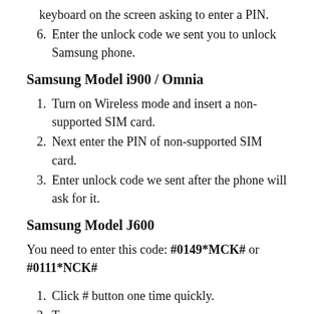5. After clicking on Settings icon, you will see a virtual keyboard on the screen asking to enter a PIN.
6. Enter the unlock code we sent you to unlock Samsung phone.
Samsung Model i900 / Omnia
1. Turn on Wireless mode and insert a non-supported SIM card.
2. Next enter the PIN of non-supported SIM card.
3. Enter unlock code we sent after the phone will ask for it.
Samsung Model J600
You need to enter this code: #0149*MCK# or #0111*NCK#
1. Click # button one time quickly.
2. Type the 4 digits and pick the correct one.